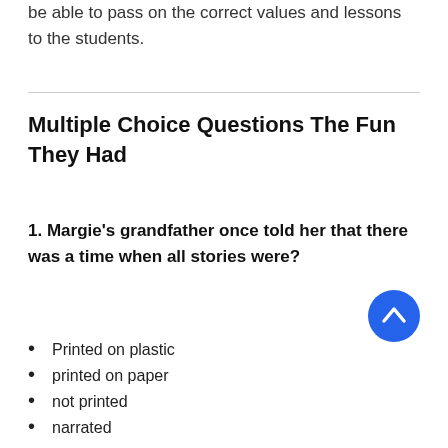be able to pass on the correct values and lessons to the students.
Multiple Choice Questions The Fun They Had
1. Margie's grandfather once told her that there was a time when all stories were?
Printed on plastic
printed on paper
not printed
narrated